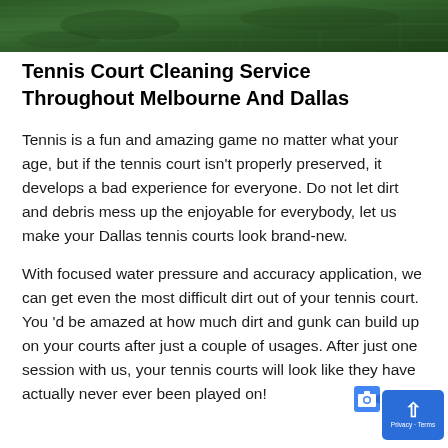[Figure (photo): Aerial or close-up view of a green tennis court surface, dark green color visible across the top of the image.]
Tennis Court Cleaning Service Throughout Melbourne And Dallas
Tennis is a fun and amazing game no matter what your age, but if the tennis court isn't properly preserved, it develops a bad experience for everyone. Do not let dirt and debris mess up the enjoyable for everybody, let us make your Dallas tennis courts look brand-new.
With focused water pressure and accuracy application, we can get even the most difficult dirt out of your tennis court. You 'd be amazed at how much dirt and gunk can build up on your courts after just a couple of usages. After just one session with us, your tennis courts will look like they have actually never ever been played on!